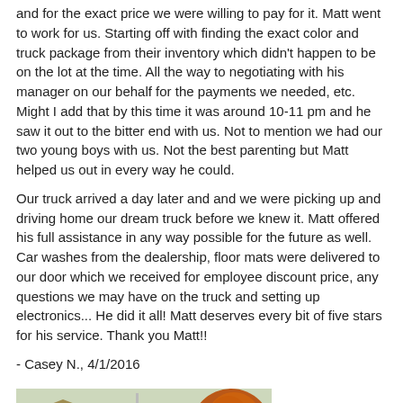and for the exact price we were willing to pay for it. Matt went to work for us. Starting off with finding the exact color and truck package from their inventory which didn't happen to be on the lot at the time. All the way to negotiating with his manager on our behalf for the payments we needed, etc. Might I add that by this time it was around 10-11 pm and he saw it out to the bitter end with us. Not to mention we had our two young boys with us. Not the best parenting but Matt helped us out in every way he could.
Our truck arrived a day later and and we were picking up and driving home our dream truck before we knew it. Matt offered his full assistance in any way possible for the future as well. Car washes from the dealership, floor mats were delivered to our door which we received for employee discount price, any questions we may have on the truck and setting up electronics... He did it all! Matt deserves every bit of five stars for his service. Thank you Matt!!
- Casey N., 4/1/2016
[Figure (photo): Outdoor photo showing a dark blue truck/vehicle in the foreground with autumn-colored trees (orange/red foliage) on the right, a residential building/house on the left, a utility pole in the middle background, and a small yellow-green tree in front of the house.]